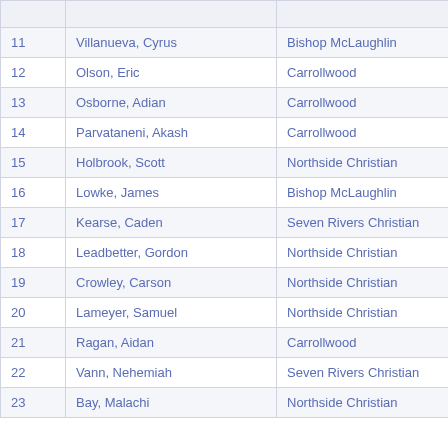|  |  |  |  |
| --- | --- | --- | --- |
| 11 | Villanueva, Cyrus | Bishop McLaughlin | 59.22 |
| 12 | Olson, Eric | Carrollwood | 59.26 |
| 13 | Osborne, Adian | Carrollwood | 59.99 |
| 14 | Parvataneni, Akash | Carrollwood | 1:00.20 |
| 15 | Holbrook, Scott | Northside Christian | 1:01.07 |
| 16 | Lowke, James | Bishop McLaughlin | 1:01.53 |
| 17 | Kearse, Caden | Seven Rivers Christian | 1:02.15 |
| 18 | Leadbetter, Gordon | Northside Christian | 1:02.18 |
| 19 | Crowley, Carson | Northside Christian | 1:02.25 |
| 20 | Lameyer, Samuel | Northside Christian | 1:02.50 |
| 21 | Ragan, Aidan | Carrollwood | 1:03.29 |
| 22 | Vann, Nehemiah | Seven Rivers Christian | 1:04.35 |
| 23 | Bay, Malachi | Northside Christian | 1:05.37 |